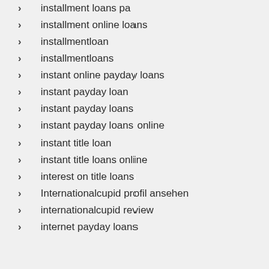installment loans pa
installment online loans
installmentloan
installmentloans
instant online payday loans
instant payday loan
instant payday loans
instant payday loans online
instant title loan
instant title loans online
interest on title loans
Internationalcupid profil ansehen
internationalcupid review
internet payday loans